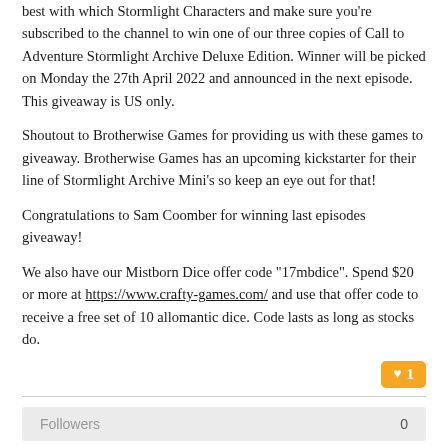best with which Stormlight Characters and make sure you're subscribed to the channel to win one of our three copies of Call to Adventure Stormlight Archive Deluxe Edition. Winner will be picked on Monday the 27th April 2022 and announced in the next episode. This giveaway is US only.
Shoutout to Brotherwise Games for providing us with these games to giveaway. Brotherwise Games has an upcoming kickstarter for their line of Stormlight Archive Mini's so keep an eye out for that!
Congratulations to Sam Coomber for winning last episodes giveaway!
We also have our Mistborn Dice offer code "17mbdice". Spend $20 or more at https://www.crafty-games.com/ and use that offer code to receive a free set of 10 allomantic dice. Code lasts as long as stocks do.
Followers 0
GO TO ARTICLES
Columns and Features